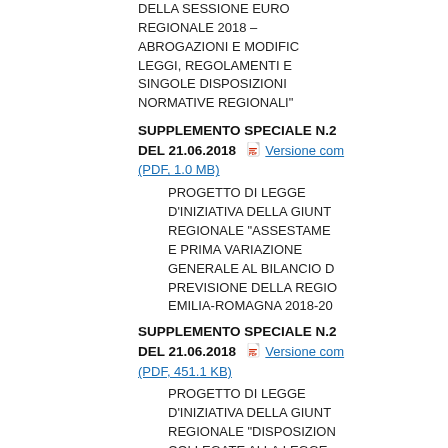DELLA SESSIONE EUROPEA REGIONALE 2018 – ABROGAZIONI E MODIFICHE LEGGI, REGOLAMENTI E SINGOLE DISPOSIZIONI NORMATIVE REGIONALI"
SUPPLEMENTO SPECIALE N.2 DEL 21.06.2018
Versione completa (PDF, 1.0 MB)
PROGETTO DI LEGGE D'INIZIATIVA DELLA GIUNTA REGIONALE "ASSESTAMENTO E PRIMA VARIAZIONE GENERALE AL BILANCIO DI PREVISIONE DELLA REGIONE EMILIA-ROMAGNA 2018-20
SUPPLEMENTO SPECIALE N.2 DEL 21.06.2018
Versione completa (PDF, 451.1 KB)
PROGETTO DI LEGGE D'INIZIATIVA DELLA GIUNTA REGIONALE "DISPOSIZIONI COLLEGATE ALLA LEGGE DI ASSESTAMENTO E PRIMA